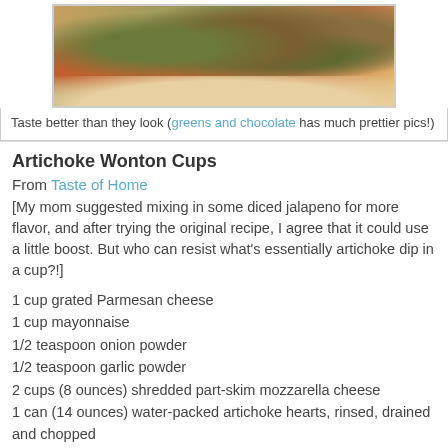[Figure (photo): Photo of artichoke wonton cups on a white plate with red rim, showing breaded/baked appetizers]
Taste better than they look (greens and chocolate has much prettier pics!)
Artichoke Wonton Cups
From Taste of Home
[My mom suggested mixing in some diced jalapeno for more flavor, and after trying the original recipe, I agree that it could use a little boost. But who can resist what's essentially artichoke dip in a cup?!]
1 cup grated Parmesan cheese
1 cup mayonnaise
1/2 teaspoon onion powder
1/2 teaspoon garlic powder
2 cups (8 ounces) shredded part-skim mozzarella cheese
1 can (14 ounces) water-packed artichoke hearts, rinsed, drained and chopped
1 package (12 ounces) wonton wrappers [I used mini fillo shells instead; find them in the freezer section]
In a small bowl, combine the Parmesan cheese